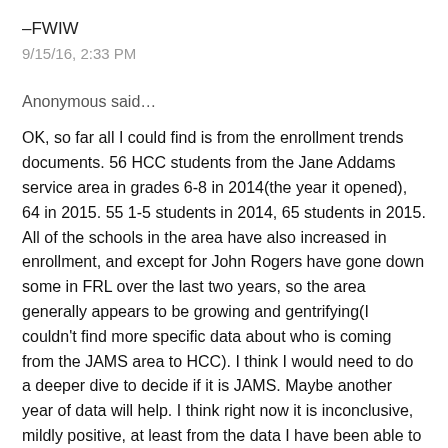–FWIW
9/15/16, 2:33 PM
Anonymous said…
OK, so far all I could find is from the enrollment trends documents. 56 HCC students from the Jane Addams service area in grades 6-8 in 2014(the year it opened), 64 in 2015. 55 1-5 students in 2014, 65 students in 2015. All of the schools in the area have also increased in enrollment, and except for John Rogers have gone down some in FRL over the last two years, so the area generally appears to be growing and gentrifying(I couldn't find more specific data about who is coming from the JAMS area to HCC). I think I would need to do a deeper dive to decide if it is JAMS. Maybe another year of data will help. I think right now it is inconclusive, mildly positive, at least from the data I have been able to find so far. Probably it would be better to also have a control, to see if there were similar increases in the federated localities and Washington…